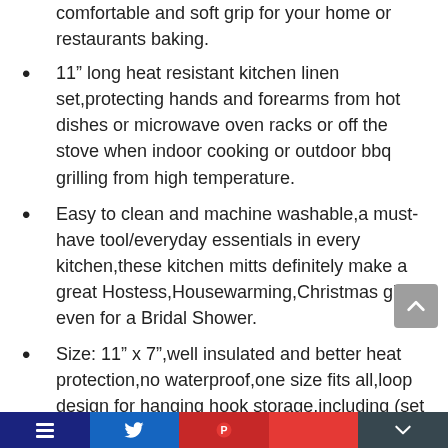comfortable and soft grip for your home or restaurants baking.
11” long heat resistant kitchen linen set,protecting hands and forearms from hot dishes or microwave oven racks or off the stove when indoor cooking or outdoor bbq grilling from high temperature.
Easy to clean and machine washable,a must-have tool/everyday essentials in every kitchen,these kitchen mitts definitely make a great Hostess,Housewarming,Christmas gift or even for a Bridal Shower.
Size: 11” x 7”,well insulated and better heat protection,no waterproof,one size fits all,loop design for hanging hook storage,including (set of 2) oven mittens and oval shaped potholders (1